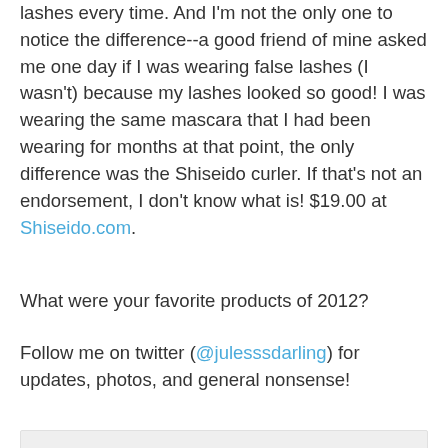lashes every time. And I'm not the only one to notice the difference--a good friend of mine asked me one day if I was wearing false lashes (I wasn't) because my lashes looked so good! I was wearing the same mascara that I had been wearing for months at that point, the only difference was the Shiseido curler. If that's not an endorsement, I don't know what is! $19.00 at Shiseido.com.
What were your favorite products of 2012?
Follow me on twitter (@julesssdarling) for updates, photos, and general nonsense!
[Figure (other): Comment/embed box with light gray background]
ALSO ON JULESDARLING
[Figure (other): Two article preview cards side by side]